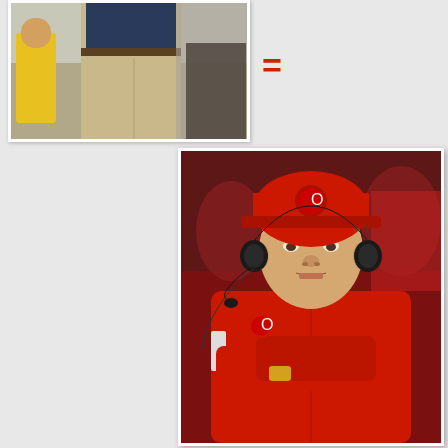[Figure (photo): Photo of a man in khaki pants standing on sideline, partially cropped, with a person in yellow/gold athletic wear visible to the left]
=
[Figure (photo): Photo of a football coach wearing a red Ohio State jacket and red cap with headset, arms crossed, looking serious on the sideline]